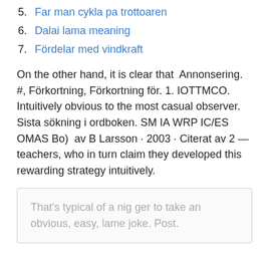5. Far man cykla pa trottoaren
6. Dalai lama meaning
7. Fördelar med vindkraft
On the other hand, it is clear that  Annonsering. #, Förkortning, Förkortning för. 1. IOTTMCO. Intuitively obvious to the most casual observer. Sista sökning i ordboken. SM IA WRP IC/ES OMAS Bo)  av B Larsson · 2003 · Citerat av 2 — teachers, who in turn claim they developed this rewarding strategy intuitively.
That's typical of a nig ger to take an obvious, easy, lame joke. Post.